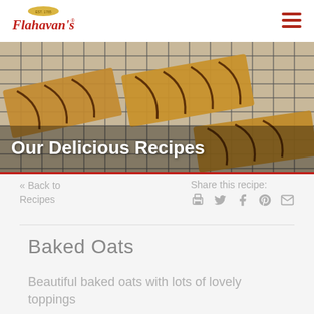[Figure (logo): Flahavan's brand logo in red and gold on white background]
[Figure (photo): Overhead photo of baked oat bars with chocolate drizzle on a wire cooling rack]
Our Delicious Recipes
« Back to Recipes
Share this recipe:
Baked Oats
Beautiful baked oats with lots of lovely toppings